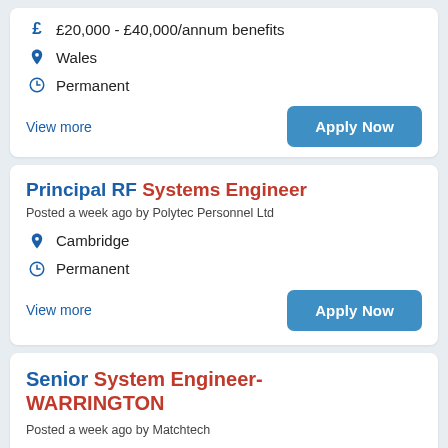£20,000 - £40,000/annum benefits
Wales
Permanent
View more
Apply Now
Principal RF Systems Engineer
Posted a week ago by Polytec Personnel Ltd
Cambridge
Permanent
View more
Apply Now
Senior System Engineer-WARRINGTON
Posted a week ago by Matchtech
Warrington, Cheshire